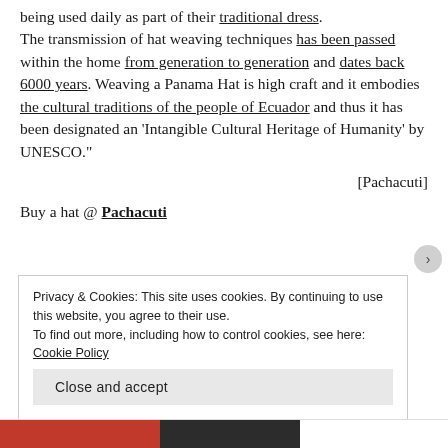being used daily as part of their traditional dress. The transmission of hat weaving techniques has been passed within the home from generation to generation and dates back 6000 years. Weaving a Panama Hat is high craft and it embodies the cultural traditions of the people of Ecuador and thus it has been designated an 'Intangible Cultural Heritage of Humanity' by UNESCO."
[Pachacuti]
Buy a hat @ Pachacuti
Privacy & Cookies: This site uses cookies. By continuing to use this website, you agree to their use. To find out more, including how to control cookies, see here: Cookie Policy
Close and accept